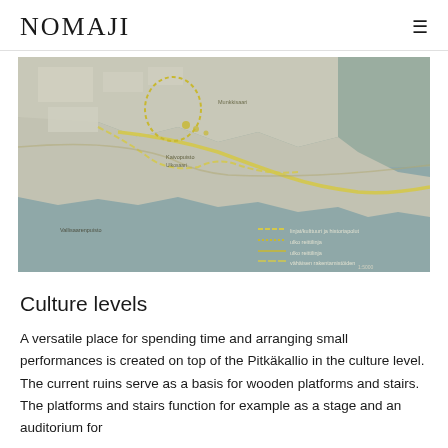NOMAJI
[Figure (map): Urban planning map showing a coastal area with yellow highlighted paths, buildings, and a legend with dashed line symbols indicating different route types and a triangle and circle symbol. Finnish text labels visible. Scale 1:5000.]
Culture levels
A versatile place for spending time and arranging small performances is created on top of the Pitkäkallio in the culture level. The current ruins serve as a basis for wooden platforms and stairs. The platforms and stairs function for example as a stage and an auditorium for